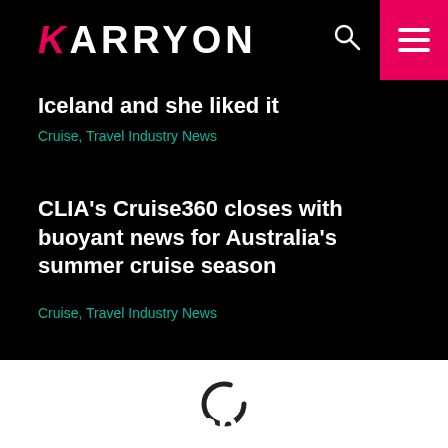KARRYON
Iceland and she liked it
Cruise, Travel Industry News
CLIA's Cruise360 closes with buoyant news for Australia's summer cruise season
Cruise, Travel Industry News
[Figure (other): Loading spinner ring icon]
Check in and sign up!